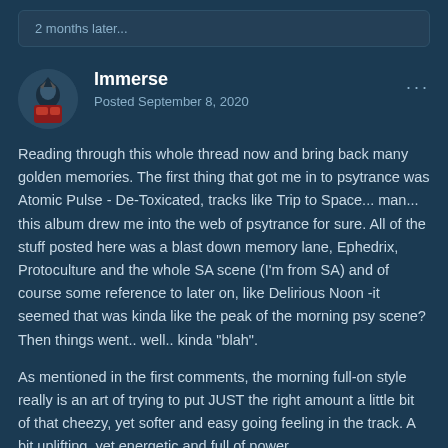2 months later...
Immerse
Posted September 8, 2020
Reading through this whole thread now and bring back many golden memories. The first thing that got me in to psytrance was Atomic Pulse - De-Toxicated, tracks like Trip to Space... man... this album drew me into the web of psytrance for sure. All of the stuff posted here was a blast down memory lane, Ephedrix, Protoculture and the whole SA scene (I'm from SA) and of course some reference to later on, like Delirious Noon -it seemed that was kinda like the peak of the morning psy scene?  Then things went.. well.. kinda "blah".
As mentioned in the first comments, the morning full-on style really is an art of trying to put JUST the right amount a little bit of that cheezy, yet softer and easy going feeling in the track. A bit uplifting, yet energetic and full of power...